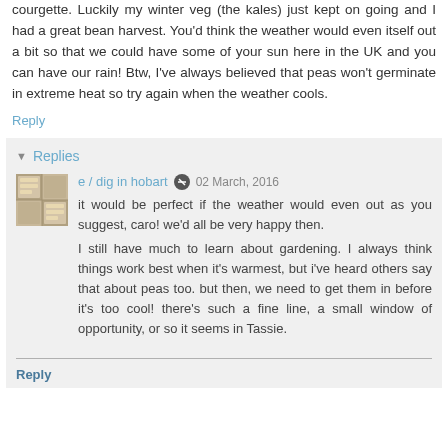courgette. Luckily my winter veg (the kales) just kept on going and I had a great bean harvest. You'd think the weather would even itself out a bit so that we could have some of your sun here in the UK and you can have our rain! Btw, I've always believed that peas won't germinate in extreme heat so try again when the weather cools.
Reply
Replies
e / dig in hobart  02 March, 2016
it would be perfect if the weather would even out as you suggest, caro! we'd all be very happy then.
I still have much to learn about gardening. I always think things work best when it's warmest, but i've heard others say that about peas too. but then, we need to get them in before it's too cool! there's such a fine line, a small window of opportunity, or so it seems in Tassie.
Reply